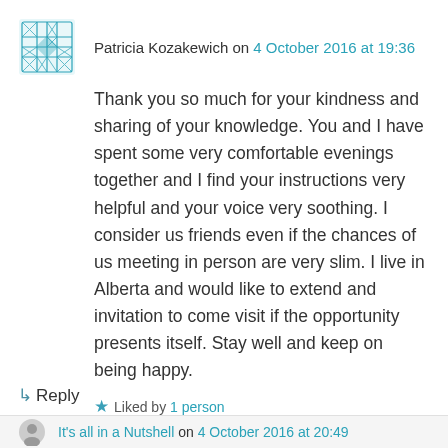[Figure (illustration): User avatar for Patricia Kozakewich — teal/green patterned geometric square icon]
Patricia Kozakewich on 4 October 2016 at 19:36
Thank you so much for your kindness and sharing of your knowledge. You and I have spent some very comfortable evenings together and I find your instructions very helpful and your voice very soothing. I consider us friends even if the chances of us meeting in person are very slim. I live in Alberta and would like to extend and invitation to come visit if the opportunity presents itself. Stay well and keep on being happy.
★ Liked by 1 person
↳ Reply
It's all in a Nutshell on 4 October 2016 at 20:49